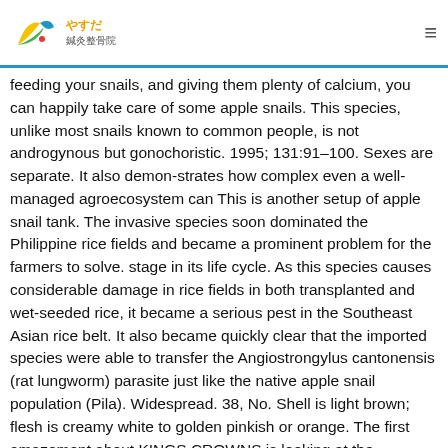やすだ 鍼灸整骨院
feeding your snails, and giving them plenty of calcium, you can happily take care of some apple snails. This species, unlike most snails known to common people, is not androgynous but gonochoristic. 1995; 131:91–100. Sexes are separate. It also demon-strates how complex even a well-managed agroecosystem can This is another setup of apple snail tank. The invasive species soon dominated the Philippine rice fields and became a prominent problem for the farmers to solve. stage in its life cycle. As this species causes considerable damage in rice fields in both transplanted and wet-seeded rice, it became a serious pest in the Southeast Asian rice belt. It also became quickly clear that the imported species were able to transfer the Angiostrongylus cantonensis (rat lungworm) parasite just like the native apple snail population (Pila). Widespread. 38, No. Shell is light brown; flesh is creamy white to golden pinkish or orange. The first amazement about KINGS CROWNS is looking at the … Freshwater snail Pomacea bridgesii (Gastropoda: Ampullariidae), life history traits and aquaculture potential. The name has been given to several Pomacea species, due to confused identification.. Scientific Name. Collect and destroy egg masses of GAS that cling on the plants, bunds and wooden stakes. Asia, Africa (Egypt, South Africa), North and South America, the